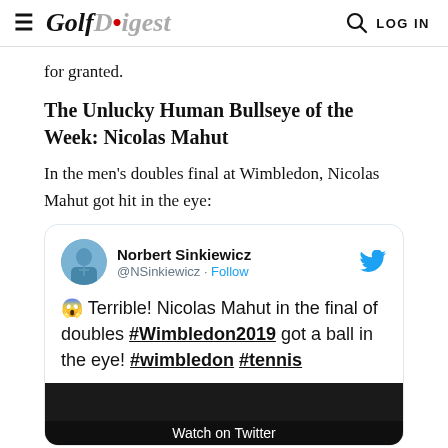Golf Digest | LOG IN
for granted.
The Unlucky Human Bullseye of the Week: Nicolas Mahut
In the men's doubles final at Wimbledon, Nicolas Mahut got hit in the eye:
[Figure (screenshot): Embedded tweet from Norbert Sinkiewicz (@NSinkiewicz) with Twitter bird icon. Tweet text: '😱 Terrible! Nicolas Mahut in the final of doubles #Wimbledon2019 got a ball in the eye! #wimbledon #tennis'. Below the tweet text is a video thumbnail showing 'Watch on Twitter'.]